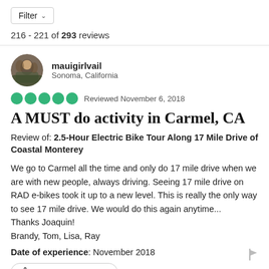Filter
216 - 221 of 293 reviews
mauigirlvail
Sonoma, California
Reviewed November 6, 2018
A MUST do activity in Carmel, CA
Review of: 2.5-Hour Electric Bike Tour Along 17 Mile Drive of Coastal Monterey
We go to Carmel all the time and only do 17 mile drive when we are with new people, always driving. Seeing 17 mile drive on RAD e-bikes took it up to a new level. This is really the only way to see 17 mile drive. We would do this again anytime...
Thanks Joaquin!
Brandy, Tom, Lisa, Ray
Date of experience: November 2018
1 Thank mauigirlvail